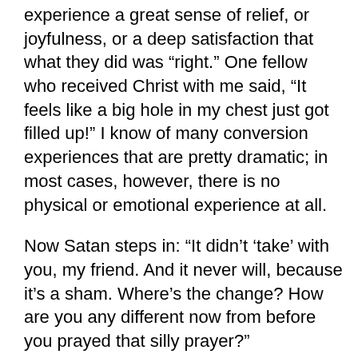experience a great sense of relief, or joyfulness, or a deep satisfaction that what they did was “right.” One fellow who received Christ with me said, “It feels like a big hole in my chest just got filled up!” I know of many conversion experiences that are pretty dramatic; in most cases, however, there is no physical or emotional experience at all.
Now Satan steps in: “It didn’t ‘take’ with you, my friend. And it never will, because it’s a sham. Where’s the change? How are you any different now from before you prayed that silly prayer?”
Because of this, the first thing you need to do is defuse the “experience bomb.” The new Christian simply needs to know he does not have to sense any dramatic changes immediately upon conversion. It may burst his bubble of spiritual misconceptions, but his feet will thereby gain solid ground. Assure him that change has indeed taken place, but it’s not the type one can necessarily feel.